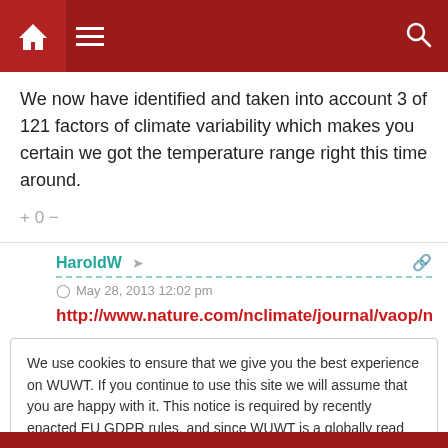[Figure (screenshot): Red navigation bar with home icon, hamburger menu, and search icon]
We now have identified and taken into account 3 of 121 factors of climate variability which makes you certain we got the temperature range right this time around.
+ 0 −
HaroldW
May 28, 2013 12:02 pm
http://www.nature.com/nclimate/journal/vaop/ncurrent/full/n
We use cookies to ensure that we give you the best experience on WUWT. If you continue to use this site we will assume that you are happy with it. This notice is required by recently enacted EU GDPR rules, and since WUWT is a globally read website, we need to keep the bureaucrats off our case! Cookie Policy
Close and accept